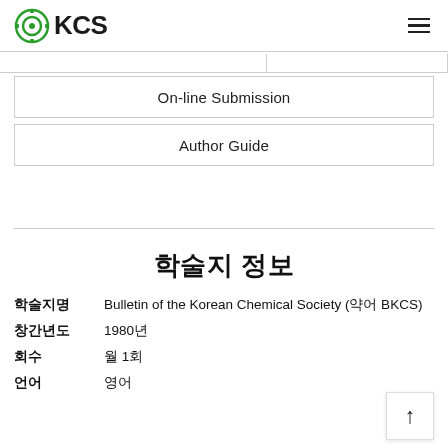KCS
On-line Submission
Author Guide
학술지 정보
| 항목 | 내용 |
| --- | --- |
| 학술지명 | Bulletin of the Korean Chemical Society (약어 BKCS) |
| 창간년도 | 1980년 |
| 회수 | 월 1회 |
| 언어 | 영어 |